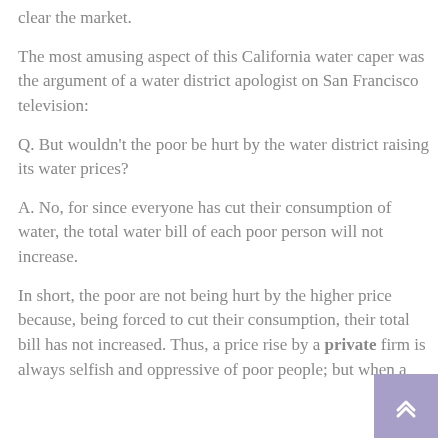clear the market.
The most amusing aspect of this California water caper was the argument of a water district apologist on San Francisco television:
Q. But wouldn't the poor be hurt by the water district raising its water prices?
A. No, for since everyone has cut their consumption of water, the total water bill of each poor person will not increase.
In short, the poor are not being hurt by the higher price because, being forced to cut their consumption, their total bill has not increased. Thus, a price rise by a private firm is always selfish and oppressive of poor people; but when a